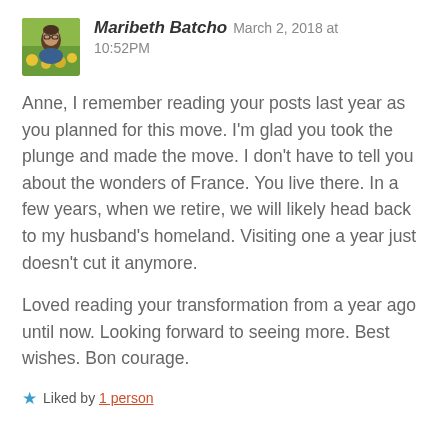[Figure (photo): Small avatar/profile photo of Maribeth Batcho — a person with glasses outdoors with flowers in background]
Maribeth Batcho   March 2, 2018 at 10:52PM
Anne, I remember reading your posts last year as you planned for this move. I'm glad you took the plunge and made the move. I don't have to tell you about the wonders of France. You live there. In a few years, when we retire, we will likely head back to my husband's homeland. Visiting one a year just doesn't cut it anymore.
Loved reading your transformation from a year ago until now. Looking forward to seeing more. Best wishes. Bon courage.
★ Liked by 1 person